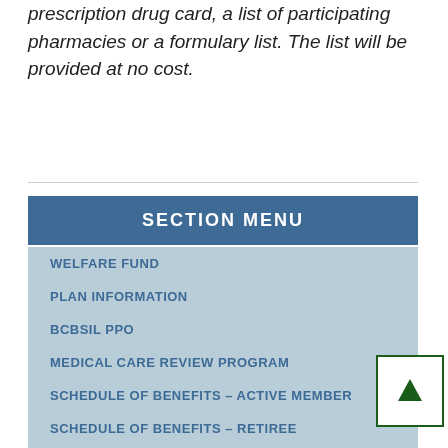prescription drug card, a list of participating pharmacies or a formulary list. The list will be provided at no cost.
SECTION MENU
WELFARE FUND
PLAN INFORMATION
BCBSIL PPO
MEDICAL CARE REVIEW PROGRAM
SCHEDULE OF BENEFITS – ACTIVE MEMBER
SCHEDULE OF BENEFITS – RETIREE
MEDICAL BENEFITS
PRESCRIPTION DRUG PROGRAM
DENTAL BENEFIT
VISION BENEFIT
WEEKLY DISABILITY BENEFIT
DEATH & DISMEMBERMENT
ACTIVE PLAN ELIGIBILITY